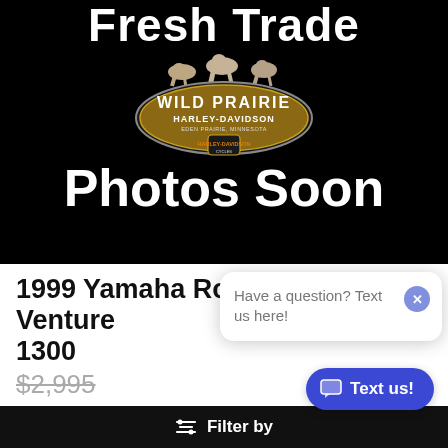Fresh Trade
[Figure (logo): Wild Prairie Harley-Davidson, Eden Prairie, Minnesota logo with horses]
Photos Soon
1999 Yamaha Royal Star Venture 1300
$2,995 (strikethrough) $1,999
Have a question? Text us here!
Filter by